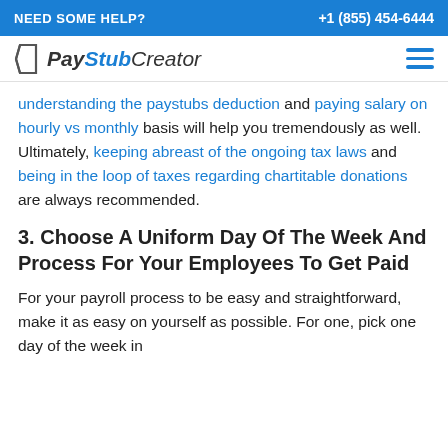NEED SOME HELP?  +1 (855) 454-6444
[Figure (logo): PayStubCreator logo with icon]
understanding the paystubs deduction and paying salary on hourly vs monthly basis will help you tremendously as well. Ultimately, keeping abreast of the ongoing tax laws and being in the loop of taxes regarding chartitable donations are always recommended.
3. Choose A Uniform Day Of The Week And Process For Your Employees To Get Paid
For your payroll process to be easy and straightforward, make it as easy on yourself as possible. For one, pick one day of the week in